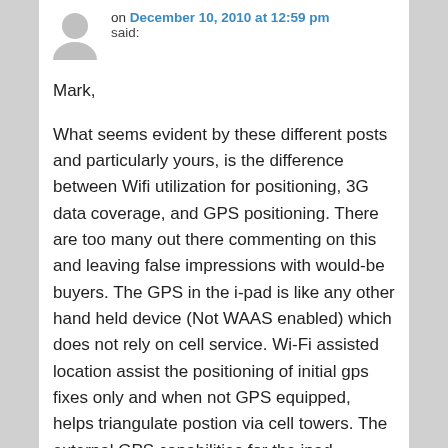on December 10, 2010 at 12:59 pm said:
Mark,
What seems evident by these different posts and particularly yours, is the difference between Wifi utilization for positioning, 3G data coverage, and GPS positioning. There are too many out there commenting on this and leaving false impressions with would-be buyers. The GPS in the i-pad is like any other hand held device (Not WAAS enabled) which does not rely on cell service. Wi-Fi assisted location assist the positioning of initial gps fixes only and when not GPS equipped, helps triangulate postion via cell towers. The external GPS capabilities for the ipad enhance it by adding WAAS accuracy and in some cases, better antenna reception. Cell coverage is not